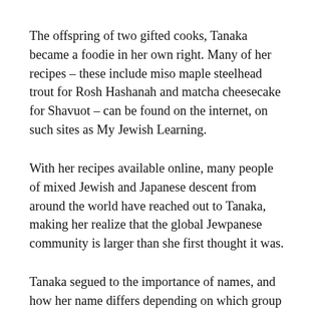The offspring of two gifted cooks, Tanaka became a foodie in her own right. Many of her recipes – these include miso maple steelhead trout for Rosh Hashanah and matcha cheesecake for Shavuot – can be found on the internet, on such sites as My Jewish Learning.
With her recipes available online, many people of mixed Jewish and Japanese descent from around the world have reached out to Tanaka, making her realize that the global Jewpanese community is larger than she first thought it was.
Tanaka segued to the importance of names, and how her name differs depending on which group she may be addressing. For example, she uses Carmel in Jewish settings and Aya in Japanese setting because the name Carmel can be difficult to pronounce for...